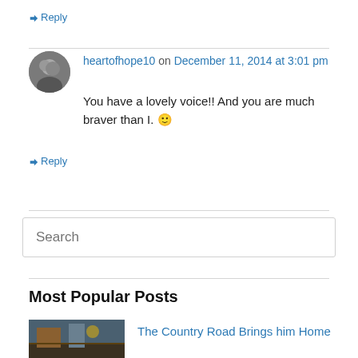↳ Reply
heartotfhope10 on December 11, 2014 at 3:01 pm
You have a lovely voice!! And you are much braver than I. 🙂
↳ Reply
Search
Most Popular Posts
The Country Road Brings him Home